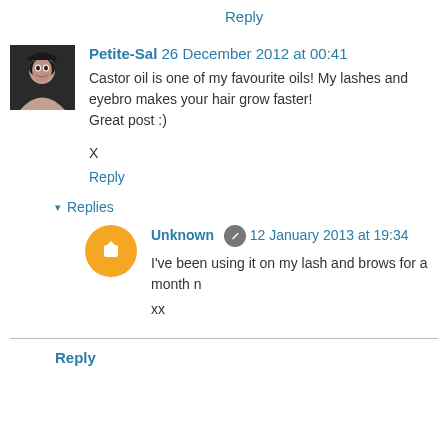Reply
Petite-Sal 26 December 2012 at 00:41
Castor oil is one of my favourite oils! My lashes and eyebrows makes your hair grow faster!
Great post :)

X
Reply
▾ Replies
Unknown 12 January 2013 at 19:34
I've been using it on my lash and brows for a month n

xx
Reply